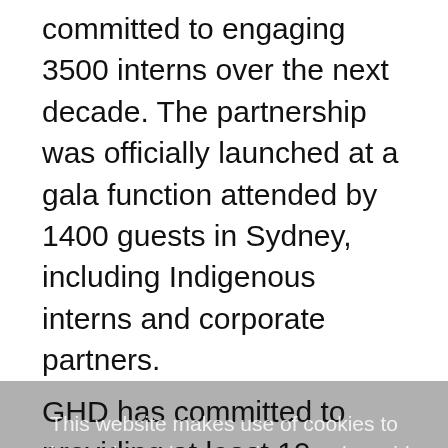committed to engaging 3500 interns over the next decade. The partnership was officially launched at a gala function attended by 1400 guests in Sydney, including Indigenous interns and corporate partners.
GHD has committed to providing at least 10 internships each year, with the goal of increasing this to 20. The interns undertake a 12 week vacation practice program at GHD while completing their degrees with a view
This website makes use of cookies to enhance browsing experience and provide additional functionality. Click here for more information.
Allow cookies   Disallow cookies